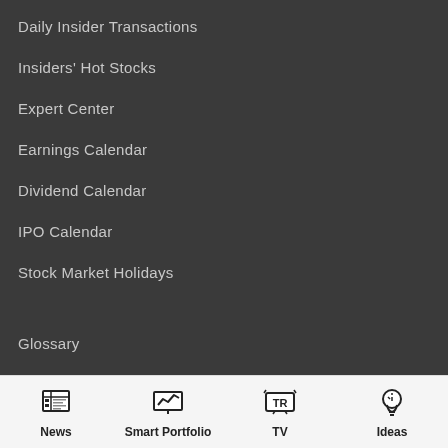Daily Insider Transactions
Insiders' Hot Stocks
Expert Center
Earnings Calendar
Dividend Calendar
IPO Calendar
Stock Market Holidays
Glossary
Market News
Education Center
News | Smart Portfolio | TV | Ideas